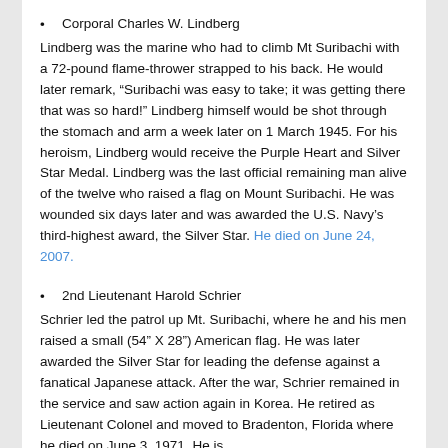Corporal Charles W. Lindberg
Lindberg was the marine who had to climb Mt Suribachi with a 72-pound flame-thrower strapped to his back. He would later remark, “Suribachi was easy to take; it was getting there that was so hard!” Lindberg himself would be shot through the stomach and arm a week later on 1 March 1945. For his heroism, Lindberg would receive the Purple Heart and Silver Star Medal. Lindberg was the last official remaining man alive of the twelve who raised a flag on Mount Suribachi. He was wounded six days later and was awarded the U.S. Navy’s third-highest award, the Silver Star. He died on June 24, 2007.
2nd Lieutenant Harold Schrier
Schrier led the patrol up Mt. Suribachi, where he and his men raised a small (54” X 28”) American flag. He was later awarded the Silver Star for leading the defense against a fanatical Japanese attack. After the war, Schrier remained in the service and saw action again in Korea. He retired as Lieutenant Colonel and moved to Bradenton, Florida where he died on June 3, 1971. He is